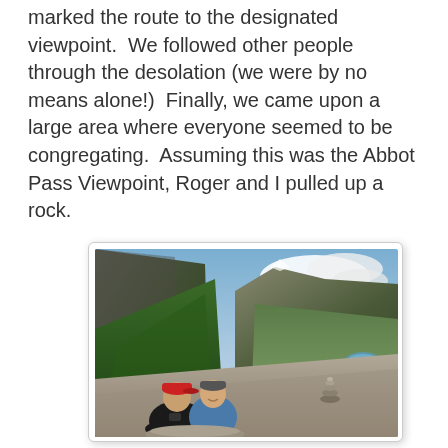marked the route to the designated viewpoint.  We followed other people through the desolation (we were by no means alone!)  Finally, we came upon a large area where everyone seemed to be congregating.  Assuming this was the Abbot Pass Viewpoint, Roger and I pulled up a rock.
[Figure (photo): A photograph of two people (a man and a woman) sitting on rocks at a mountain viewpoint. Behind them is a dramatic alpine landscape with steep forested slopes, rocky cliffs, mountains in the background, and a turquoise lake visible in the valley below. A small cairn (stacked rocks) is visible to the right of the people.]